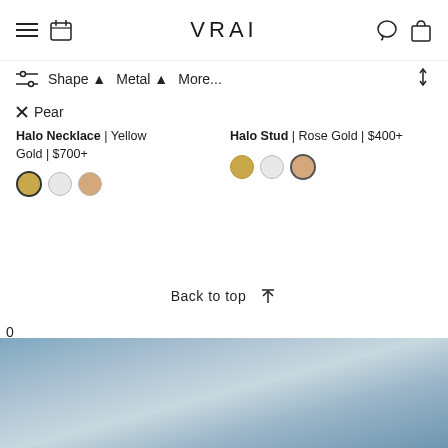VRAI
Shape ▲  Metal ▲  More...
× Pear
Halo Necklace | Yellow Gold | $700+
Halo Stud | Rose Gold | $400+
Back to top ↑
0
[Figure (photo): Blue-grey gradient background image at the bottom of the page]